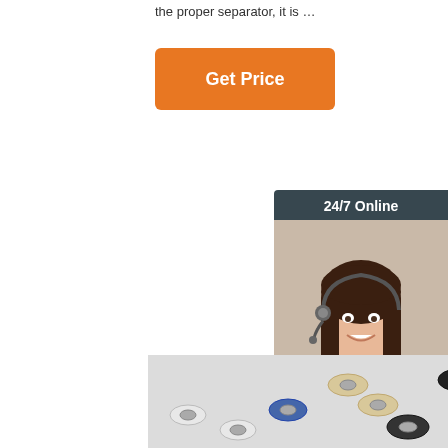the proper separator, it is …
[Figure (other): Orange 'Get Price' button]
[Figure (other): Sidebar widget with '24/7 Online' header, photo of smiling woman with headset, 'Click here for free chat!' text, and orange QUOTATION button]
[Figure (photo): Product photo showing many small plastic-coated bearings/rollers in various colors (white, green, blue, black, beige) scattered on a light grey surface]